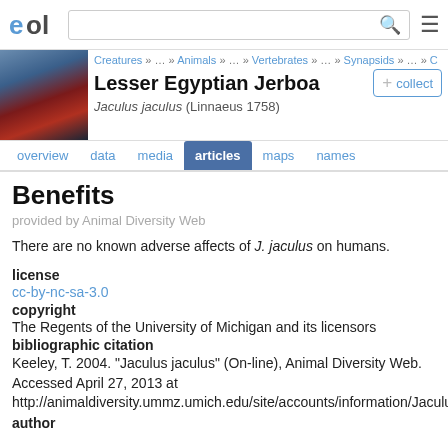EOL | [search bar] | [menu]
[Figure (photo): Photo of Lesser Egyptian Jerboa habitat or specimen]
Creatures » … » Animals » … » Vertebrates » … » Synapsids » … » C
Lesser Egyptian Jerboa
Jaculus jaculus (Linnaeus 1758)
Benefits
provided by Animal Diversity Web
There are no known adverse affects of J. jaculus on humans.
license
cc-by-nc-sa-3.0
copyright
The Regents of the University of Michigan and its licensors
bibliographic citation
Keeley, T. 2004. "Jaculus jaculus" (On-line), Animal Diversity Web. Accessed April 27, 2013 at http://animaldiversity.ummz.umich.edu/site/accounts/information/Jaculus_jaculus.html
author